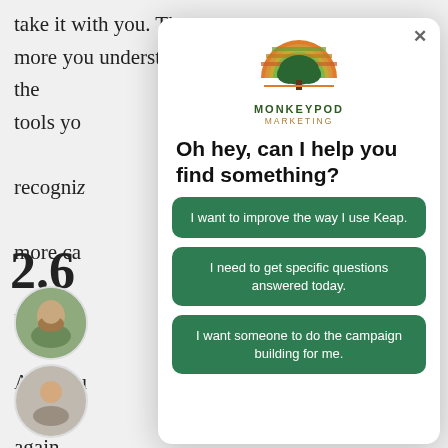take it with you. The more you understand the tools you recogniz more ca for the r And you again.
[Figure (screenshot): Monkeypod Marketing chatbot modal overlay with logo, heading 'Oh hey, can I help you find something?' and three green buttons with options: 'I want to improve the way I use Keap.', 'I need to get specific questions answered today.', 'I want someone to do the campaign building for me.']
2.6
[Figure (photo): Circular avatar photo of a bearded man outdoors]
[Figure (photo): Circular avatar photo of another person]